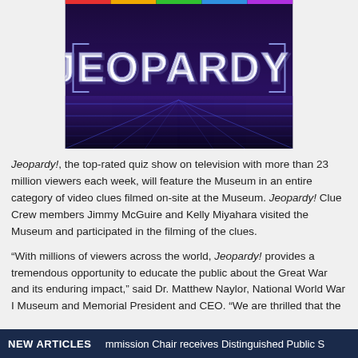[Figure (screenshot): Jeopardy! TV show logo on a dark blue/purple stage background with neon grid lines]
Jeopardy!, the top-rated quiz show on television with more than 23 million viewers each week, will feature the Museum in an entire category of video clues filmed on-site at the Museum. Jeopardy! Clue Crew members Jimmy McGuire and Kelly Miyahara visited the Museum and participated in the filming of the clues.
“With millions of viewers across the world, Jeopardy! provides a tremendous opportunity to educate the public about the Great War and its enduring impact,” said Dr. Matthew Naylor, National World War I Museum and Memorial President and CEO. “We are thrilled that the
NEW ARTICLES   mmission Chair receives Distinguished Public S